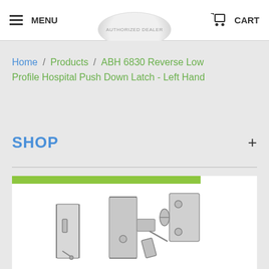MENU  CART
Home / Products / ABH 6830 Reverse Low Profile Hospital Push Down Latch - Left Hand
SHOP
[Figure (illustration): Technical illustration of ABH 6830 Reverse Low Profile Hospital Push Down Latch - Left Hand hardware components shown in exploded/assembled view, rendered in gray line drawing style.]